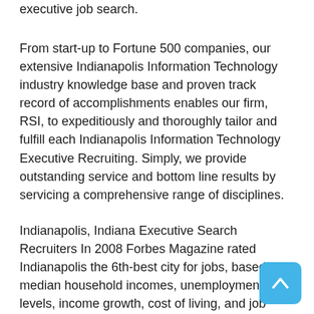executive job search.
From start-up to Fortune 500 companies, our extensive Indianapolis Information Technology industry knowledge base and proven track record of accomplishments enables our firm, RSI, to expeditiously and thoroughly tailor and fulfill each Indianapolis Information Technology Executive Recruiting. Simply, we provide outstanding service and bottom line results by servicing a comprehensive range of disciplines.
Indianapolis, Indiana Executive Search Recruiters In 2008 Forbes Magazine rated Indianapolis the 6th-best city for jobs, based on median household incomes, unemployment levels, income growth, cost of living, and job growth. In 2010 Yahoo Real Estate rated Indianapolis 10th-best city for relocation. In 2011 Forbes Magazine rated the city 6th-best among U.S. cities for retirement. Indianapolis' economy is highly diversified, with an